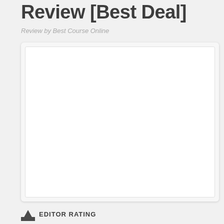Review [Best Deal]
Review by Best Course Online
[Figure (photo): Blank white image placeholder inside a light gray card container]
EDITOR RATING